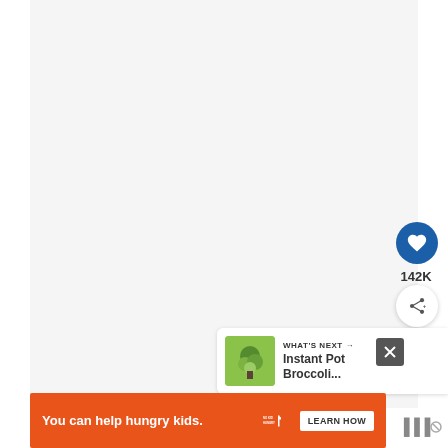[Figure (screenshot): Large light gray content area, likely a recipe image placeholder]
[Figure (infographic): Heart (favorite) button - dark blue circle with white heart icon, showing 142K likes]
142K
[Figure (infographic): Share button - white circle with share/add icon]
WHAT'S NEXT → Instant Pot Broccoli...
[Figure (infographic): What's Next panel showing Instant Pot Broccoli recipe thumbnail]
You can help hungry kids. NO KID HUNGRY LEARN HOW